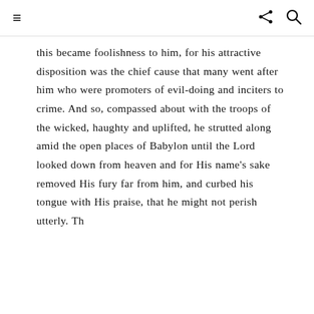≡  ⋮ 🔍
this became foolishness to him, for his attractive disposition was the chief cause that many went after him who were promoters of evil-doing and inciters to crime. And so, compassed about with the troops of the wicked, haughty and uplifted, he strutted along amid the open places of Babylon until the Lord looked down from heaven and for His name's sake removed His fury far from him, and curbed his tongue with His praise, that he might not perish utterly. Th...